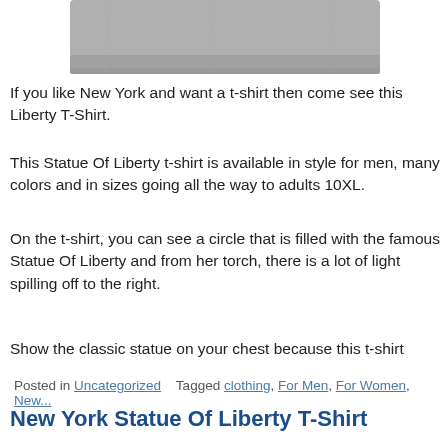[Figure (photo): Gray t-shirt, partially visible, top portion cropped showing bottom hem area]
If you like New York and want a t-shirt then come see this Liberty T-Shirt.
This Statue Of Liberty t-shirt is available in style for men, many colors and in sizes going all the way to adults 10XL.
On the t-shirt, you can see a circle that is filled with the famous Statue Of Liberty and from her torch, there is a lot of light spilling off to the right.
Show the classic statue on your chest because this t-shirt
Posted in Uncategorized   Tagged clothing, For Men, For Women, New...
New York Statue Of Liberty T-Shirt